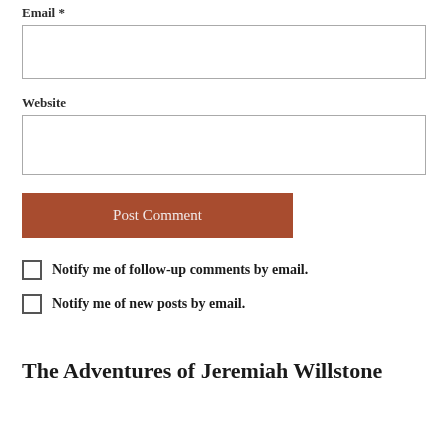Email *
[Figure (other): Empty input text box for Email field]
Website
[Figure (other): Empty input text box for Website field]
[Figure (other): Post Comment button, brown/rust colored]
Notify me of follow-up comments by email.
Notify me of new posts by email.
The Adventures of Jeremiah Willstone